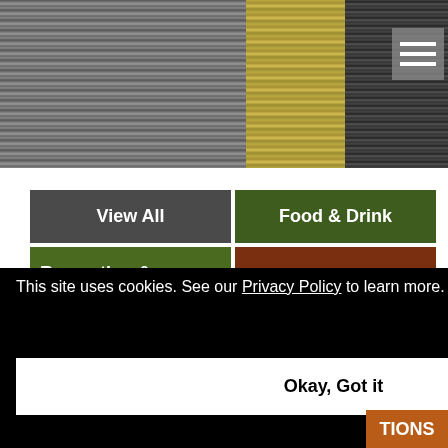[Figure (screenshot): Website screenshot showing a navigation menu with categories: View All, Food & Drink, Recreation & Entertainment, Shops & Grocers, Education & Employment. Below is a map with Streets radio button selected. A cookie consent overlay reads: This site uses cookies. See our Privacy Policy to learn more. With an Okay, Got it button.]
View All
Food & Drink
Recreation & Entertainment
Shops & Grocers
Education & Employment
Streets
This site uses cookies. See our Privacy Policy to learn more.
Okay, Got it